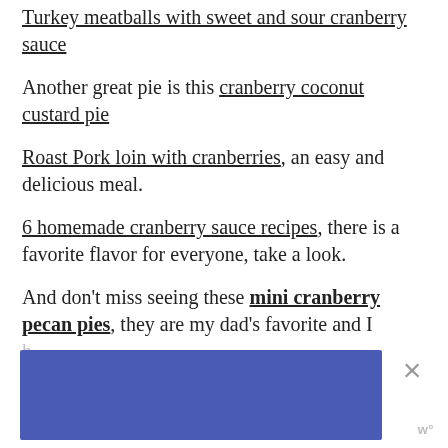Turkey meatballs with sweet and sour cranberry sauce
Another great pie is this cranberry coconut custard pie
Roast Pork loin with cranberries, an easy and delicious meal.
6 homemade cranberry sauce recipes, there is a favorite flavor for everyone, take a look.
And don't miss seeing these mini cranberry pecan pies, they are my dad's favorite and I [partially obscured by ad]
[Figure (other): Blue advertisement banner overlay with close (X) button and watermark logo in bottom right corner]